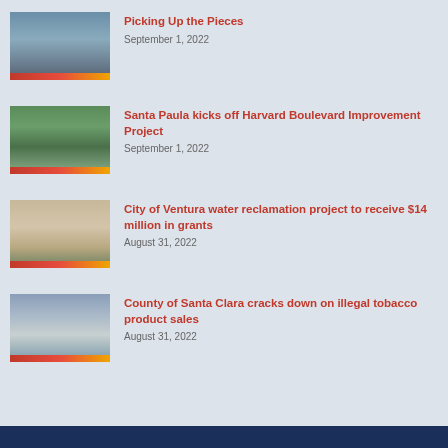[Figure (photo): Bridge cityscape photo with red/orange gradient bar at bottom]
Picking Up the Pieces
September 1, 2022
[Figure (photo): City seal/monument with green foliage photo with red/orange gradient bar at bottom]
Santa Paula kicks off Harvard Boulevard Improvement Project
September 1, 2022
[Figure (photo): Architectural arch/gateway photo with red/orange gradient bar at bottom]
City of Ventura water reclamation project to receive $14 million in grants
August 31, 2022
[Figure (photo): Sky and water landscape photo with red/orange gradient bar at bottom]
County of Santa Clara cracks down on illegal tobacco product sales
August 31, 2022